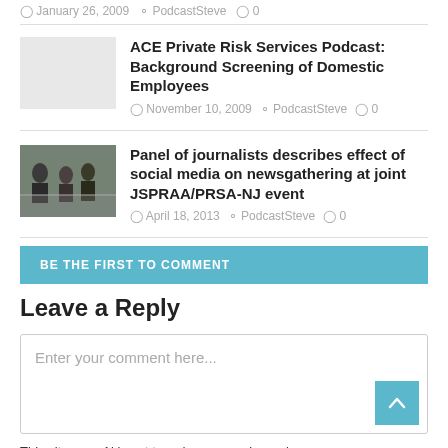January 26, 2009   PodcastSteve   0
ACE Private Risk Services Podcast: Background Screening of Domestic Employees
November 10, 2009   PodcastSteve   0
Panel of journalists describes effect of social media on newsgathering at joint JSPRAA/PRSA-NJ event
April 18, 2013   PodcastSteve   0
BE THE FIRST TO COMMENT
Leave a Reply
Enter your comment here...
This site uses Akismet to reduce spam. Learn how your